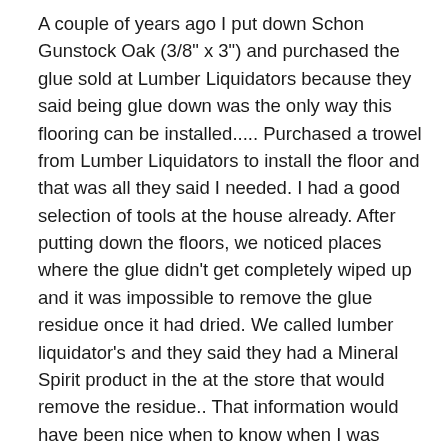A couple of years ago I put down Schon Gunstock Oak (3/8" x 3") and purchased the glue sold at Lumber Liquidators because they said being glue down was the only way this flooring can be installed..... Purchased a trowel from Lumber Liquidators to install the floor and that was all they said I needed. I had a good selection of tools at the house already. After putting down the floors, we noticed places where the glue didn't get completely wiped up and it was impossible to remove the glue residue once it had dried. We called lumber liquidator's and they said they had a Mineral Spirit product in the at the store that would remove the residue.. That information would have been nice when to know when I was originally in the store buying products for the installation. Got the Mineral Spirits from Lumber Liquidators but it still wouldn't take up the residue. Had to use it immediately after each board was installed if board glue got on the surface. After spending an additional week on our hands and knees trying to get the residue off we decided it was too late and gave up trying to